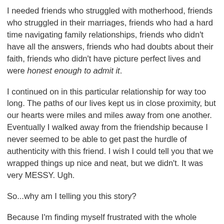I needed friends who struggled with motherhood, friends who struggled in their marriages, friends who had a hard time navigating family relationships, friends who didn't have all the answers, friends who had doubts about their faith, friends who didn't have picture perfect lives and were honest enough to admit it.
I continued on in this particular relationship for way too long. The paths of our lives kept us in close proximity, but our hearts were miles and miles away from one another. Eventually I walked away from the friendship because I never seemed to be able to get past the hurdle of authenticity with this friend. I wish I could tell you that we wrapped things up nice and neat, but we didn't. It was very MESSY. Ugh.
So...why am I telling you this story?
Because I'm finding myself frustrated with the whole blogging thing lately. It just seems like a place that invites us to put our best face forward and mask the real stuff that's going on in our lives.